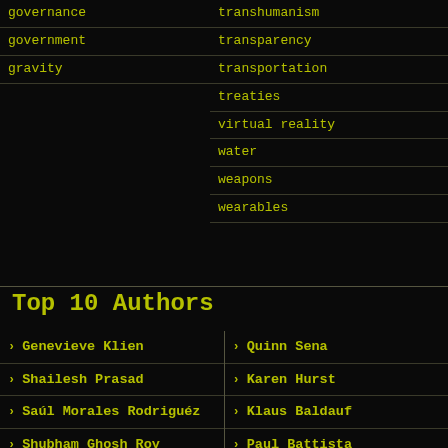governance
government
gravity
transhumanism
transparency
transportation
treaties
virtual reality
water
weapons
wearables
Top 10 Authors
Genevieve Klien
Quinn Sena
Shailesh Prasad
Karen Hurst
Saúl Morales Rodriguéz
Klaus Baldauf
Shubham Ghosh Roy
Paul Battista